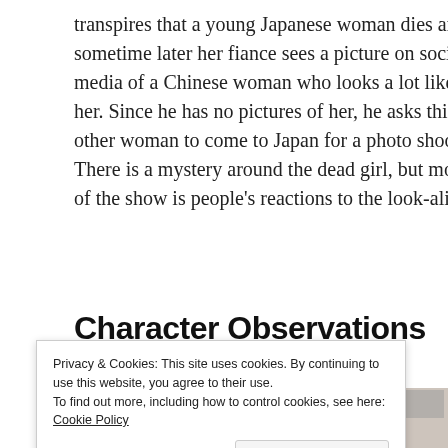transpires that a young Japanese woman dies and sometime later her fiance sees a picture on social media of a Chinese woman who looks a lot like her. Since he has no pictures of her, he asks this other woman to come to Japan for a photo shoot. There is a mystery around the dead girl, but most of the show is people's reactions to the look-alike.
Character Observations
[Figure (photo): Photo of a Japanese store interior with a woman seen from behind, shelves with products and red signage visible.]
Privacy & Cookies: This site uses cookies. By continuing to use this website, you agree to their use.
To find out more, including how to control cookies, see here: Cookie Policy
Close and accept